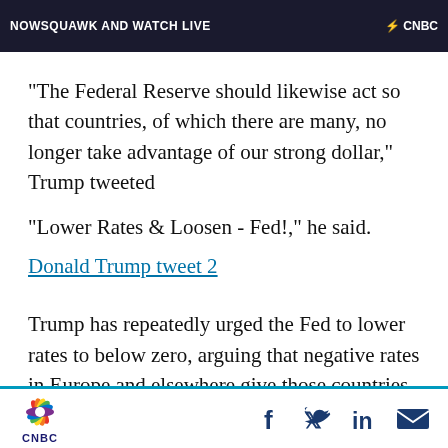[Figure (screenshot): CNBC video banner/thumbnail at the top of the page, dark background with white text and CNBC logo]
“The Federal Reserve should likewise act so that countries, of which there are many, no longer take advantage of our strong dollar,” Trump tweeted
“Lower Rates & Loosen - Fed!,” he said.
Donald Trump tweet 2
Trump has repeatedly urged the Fed to lower rates to below zero, arguing that negative rates in Europe and elsewhere give those countries a competitive advantage
CNBC logo with social sharing icons: Facebook, Twitter, LinkedIn, Email